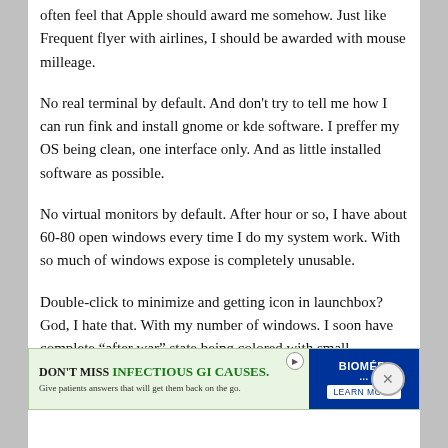often feel that Apple should award me somehow. Just like Frequent flyer with airlines, I should be awarded with mouse milleage.
No real terminal by default. And don't try to tell me how I can run fink and install gnome or kde software. I preffer my OS being clean, one interface only. And as little installed software as possible.
No virtual monitors by default. After hour or so, I have about 60-80 open windows every time I do my system work. With so much of windows expose is completely unusable.
Double-click to minimize and getting icon in launchbox? God, I hate that. With my number of windows. I soon have complete "after war" state being colored with small
[Figure (screenshot): Advertisement banner: DON'T MISS INFECTIOUS GI CAUSES. Give patients answers that will get them back on the go. BIOMÉRI... LEARN MORE]